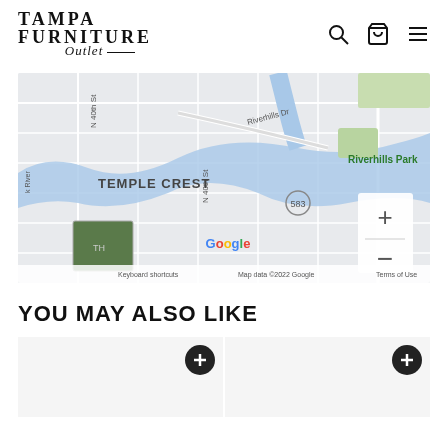[Figure (logo): Tampa Furniture Outlet logo with navigation icons (search, cart, menu)]
[Figure (map): Google Maps showing Temple Crest neighborhood in Tampa, FL with Riverhills Park, N 40th St, Riverhills Dr, and river features visible. Map data ©2022 Google.]
YOU MAY ALSO LIKE
[Figure (photo): Product card thumbnail with add (+) button, partially visible]
[Figure (photo): Product card thumbnail with add (+) button, partially visible]